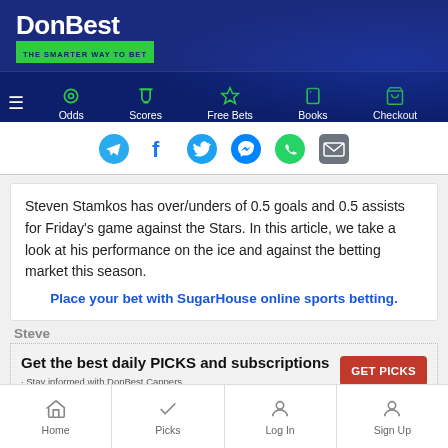DonBest - THE SMARTER WAY TO BET
[Figure (screenshot): Navigation bar with icons for Odds, Scores, Free Bets, Books, Checkout]
[Figure (infographic): Social sharing icons: Telegram, Facebook, Twitter, Messenger, WhatsApp, Email]
Steven Stamkos has over/unders of 0.5 goals and 0.5 assists for Friday's game against the Stars. In this article, we take a look at his performance on the ice and against the betting market this season.
Place your bet with SugarHouse online sports betting.
Steve
[Figure (infographic): Banner ad: Get the best daily PICKS and subscriptions. Stay informed with DonBest.Cappers. GET PICKS button.]
Home | Picks | Log In | Sign Up